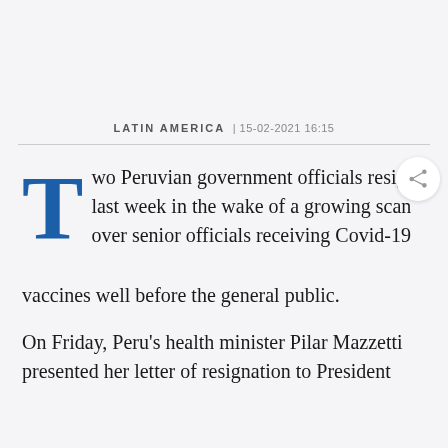LATIN AMERICA | 15-02-2021 16:15
Two Peruvian government officials resigned last week in the wake of a growing scandal over senior officials receiving Covid-19 vaccines well before the general public.
On Friday, Peru's health minister Pilar Mazzetti presented her letter of resignation to President